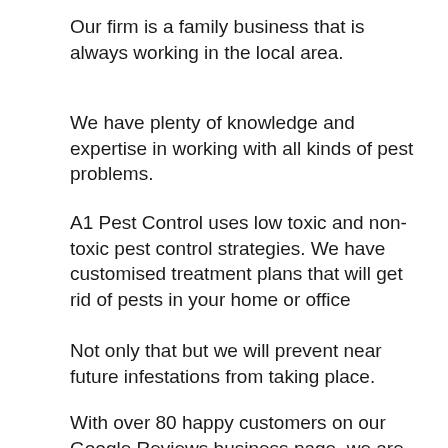Our firm is a family business that is always working in the local area.
We have plenty of knowledge and expertise in working with all kinds of pest problems.
A1 Pest Control uses low toxic and non-toxic pest control strategies. We have customised treatment plans that will get rid of pests in your home or office
Not only that but we will prevent near future infestations from taking place.
With over 80 happy customers on our Google Reviews business page, we are your number one